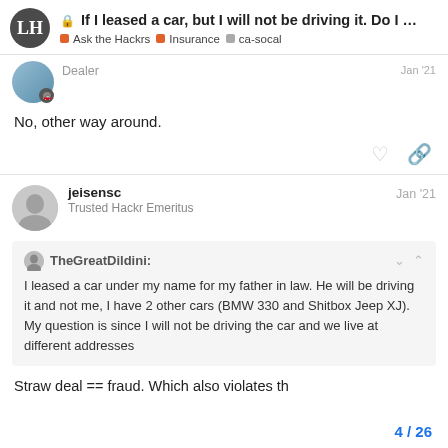If I leased a car, but I will not be driving it. Do I ... | Ask the Hackrs | Insurance | ca-socal
No, other way around.
jeisensc — Trusted Hackr Emeritus — Jan '21
TheGreatDildini: I leased a car under my name for my father in law. He will be driving it and not me, I have 2 other cars (BMW 330 and Shitbox Jeep XJ). My question is since I will not be driving the car and we live at different addresses
Straw deal == fraud. Which also violates th
4 / 26